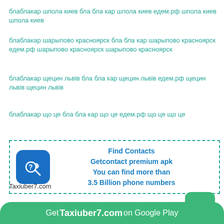блаблакар шпола киев бла бла кар шпола киев едем.рф шпола киев шпола киев
блаблакар шарыпово красноярск бла бла кар шарыпово красноярск едем.рф шарыпово красноярск шарыпово красноярск
блаблакар щецин львів бла бла кар щецин львів едем.рф щецин львів щецин львів
блаблакар що це бла бла кар що це едем.рф що це що це
[Figure (infographic): Advertisement box with dashed teal border containing a blue phone app icon on the left and bold teal text on the right reading: Find Contacts / Getcontact premium apk / You can find more than / 3.5 Billion phone numbers]
Taxiuber7.com
[Figure (logo): Green rounded square button with white letter T]
Get Taxiuber7.com on Google Play